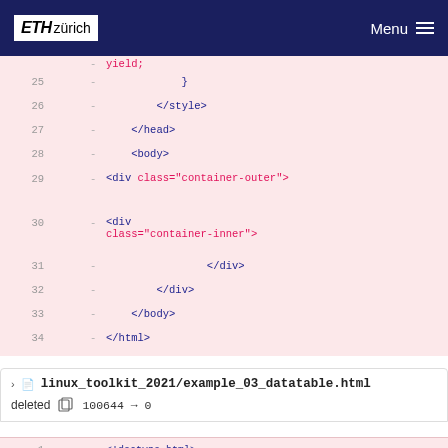ETH zürich  Menu
[Figure (screenshot): Git diff view showing deleted HTML code lines 25-34, with pink background indicating removed lines. Lines include closing style, head, body tags and div elements with class container-outer and container-inner. Last line shows '\No newline at end of file'.]
linux_toolkit_2021/example_03_datatable.html
deleted  100644 → 0
[Figure (screenshot): Git diff showing beginning of deleted file example_03_datatable.html, lines 1-3 visible: <!doctype html>, <html lang="en">, <head>]